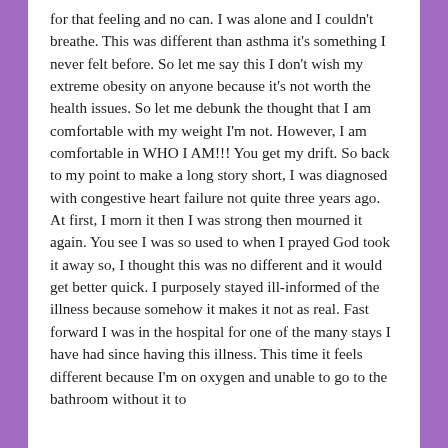for that feeling and no can. I was alone and I couldn't breathe. This was different than asthma it's something I never felt before. So let me say this I don't wish my extreme obesity on anyone because it's not worth the health issues. So let me debunk the thought that I am comfortable with my weight I'm not. However, I am comfortable in WHO I AM!!! You get my drift. So back to my point to make a long story short, I was diagnosed with congestive heart failure not quite three years ago. At first, I morn it then I was strong then mourned it again. You see I was so used to when I prayed God took it away so, I thought this was no different and it would get better quick. I purposely stayed ill-informed of the illness because somehow it makes it not as real. Fast forward I was in the hospital for one of the many stays I have had since having this illness. This time it feels different because I'm on oxygen and unable to go to the bathroom without it to